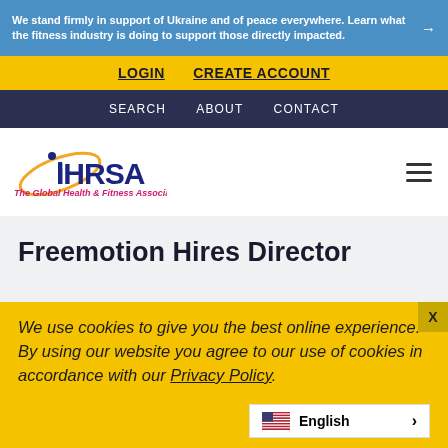We stand firmly in support of Ukraine and of peace everywhere. Learn what the fitness industry is doing to support those directly impacted. →
LOGIN   CREATE ACCOUNT
SEARCH   ABOUT   CONTACT
[Figure (logo): IHRSA logo — The Global Health & Fitness Association]
Freemotion Hires Director
We use cookies to give you the best online experience. By using our website you agree to our use of cookies in accordance with our Privacy Policy.